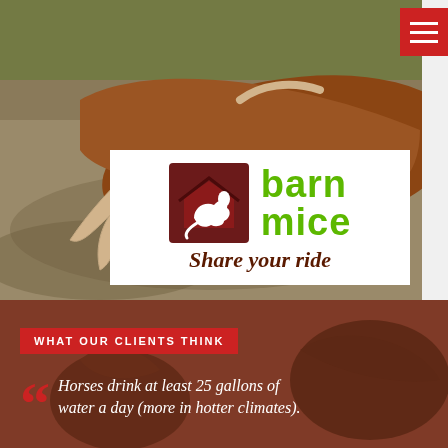[Figure (photo): A brown horse lying down on sandy/muddy ground, viewed from above/side angle]
[Figure (logo): Barn Mice logo with dark red barn icon featuring stylized mice, green text reading BARN MICE, and italic tagline 'Share your ride']
[Figure (photo): Two dark horses facing each other against a warm brown/red background]
WHAT OUR CLIENTS THINK
Horses drink at least 25 gallons of water a day (more in hotter climates).